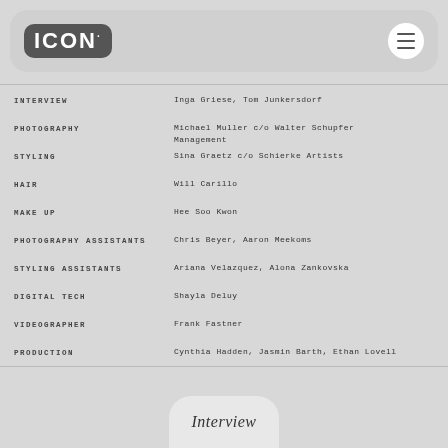ICON
INTERVIEW    Inga Griese, Tom Junkersdorf
PHOTOGRAPHY    Michael Muller c/o Walter Schupfer Management
STYLING    Sina Graetz c/o Schierke Artists
HAIR    Will Carillo
MAKE UP    Hee Soo Kwon
PHOTOGRAPHY ASSISTANTS    Chris Beyer, Aaron Meekoms
STYLING ASSISTANTS    Ariana Velazquez, Alona Zankovska
DIGITAL TECH    Shayla Deluy
VIDEOGRAPHER    Frank Fastner
PRODUCTION    Cynthia Hadden, Jasmin Barth, Ethan Lovell
Interview